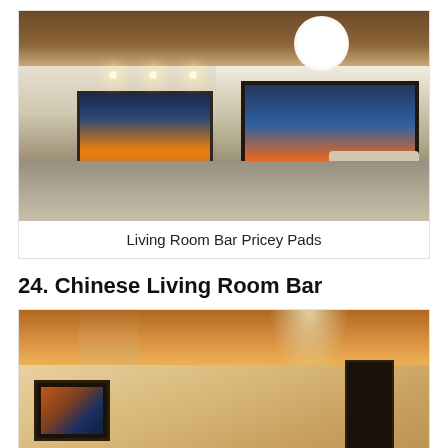[Figure (photo): Interior photo of a modern luxury living room bar area with open floor plan, kitchen counter with bar stools, large sliding glass doors showing ocean/sunset view, pendant lights, and contemporary furniture.]
Living Room Bar Pricey Pads
24. Chinese Living Room Bar
[Figure (photo): Interior photo of a Chinese-style luxury living room with ornate ceiling featuring warm amber/orange lighting, crystal chandeliers, a framed landscape painting on the wall, and a dark wooden door.]